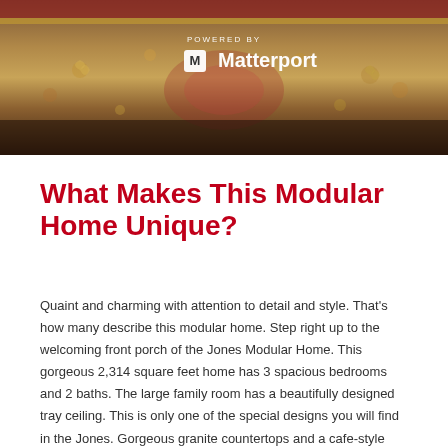[Figure (photo): A decorative rug or carpet with warm brown/red tones, overlaid with 'POWERED BY Matterport' branding logo in white]
What Makes This Modular Home Unique?
Quaint and charming with attention to detail and style. That's how many describe this modular home. Step right up to the welcoming front porch of the Jones Modular Home. This gorgeous 2,314 square feet home has 3 spacious bedrooms and 2 baths. The large family room has a beautifully designed tray ceiling. This is only one of the special designs you will find in the Jones. Gorgeous granite countertops and a cafe-style backsplash in the kitchen showcase the detail and style in this home. The layout is perfect for a growing family who will need plenty of space. The 4th bedroom can be used for limitless possibilities. A guest bedroom, a game room, a kids office...